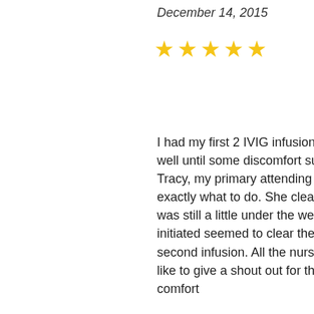December 14, 2015
[Figure (other): Five golden star rating icons]
I had my first 2 IVIG infusions over the last two days. The first day went well until some discomfort surfaced overnight. When I reported this to Tracy, my primary attending nurse, she jumped into action and knew exactly what to do. She cleared a process with the doctor and, while I was still a little under the weather throughout the day, the steps she initiated seemed to clear the way for a much better outcome from the second infusion. All the nurses in the infusion center are great but I'd like to give a shout out for the excellent service and attention to my comfort